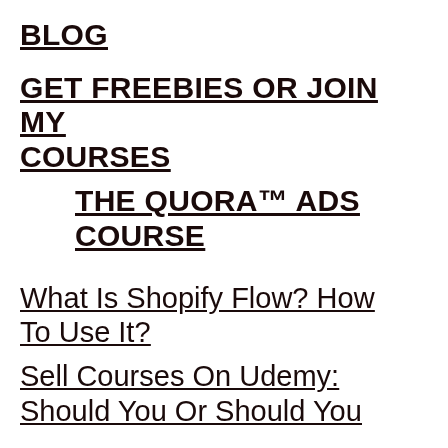BLOG
GET FREEBIES OR JOIN MY COURSES
THE QUORA™ ADS COURSE
What Is Shopify Flow? How To Use It?
Sell Courses On Udemy: Should You Or Should You